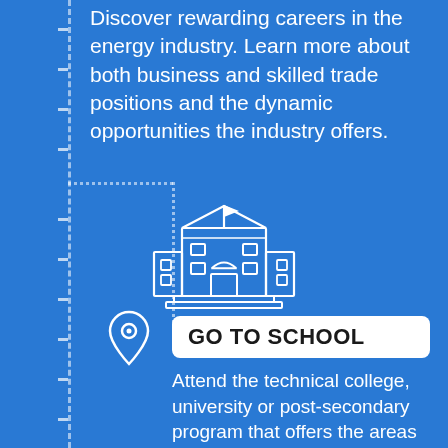Discover rewarding careers in the energy industry. Learn more about both business and skilled trade positions and the dynamic opportunities the industry offers.
[Figure (illustration): White outline icon of a school/university building with a flag on top, arched entrance, windows, and steps, on a blue background]
GO TO SCHOOL
Attend the technical college, university or post-secondary program that offers the areas of study relevant to your chosen energy career path.